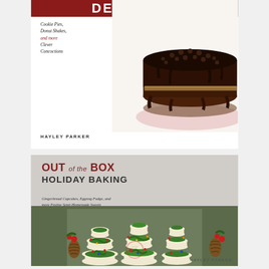[Figure (photo): Top book cover showing title 'DESSERTS' in white text on dark red background with subtitle 'Cookie Pies, Donut Shakes, and more Clever Concoctions', author 'HAYLEY PARKER', and a chocolate-covered ice cream cake on a pink plate on the right side of the cover.]
[Figure (photo): Bottom book cover titled 'OUT of the BOX HOLIDAY BAKING' with subtitle 'Gingerbread Cupcakes, Eggnog Fudge, and more Festive Semi-Homemade Sweets' by Hayley Parker, showing Christmas tree-shaped stacked cookie desserts decorated with green frosting and colorful sprinkles, with pine cones and poinsettia decorations.]